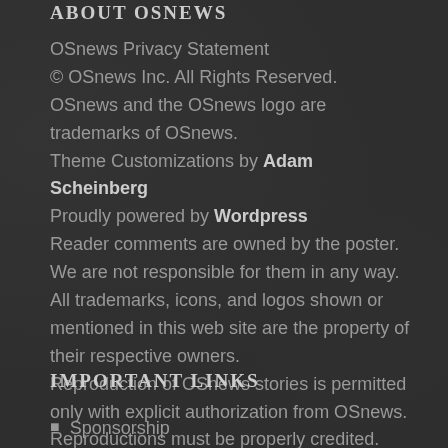ABOUT OSNEWS
OSnews Privacy Statement
© OSnews Inc. All Rights Reserved.
OSnews and the OSnews logo are trademarks of OSnews.
Theme Customizations by Adam Scheinberg
Proudly powered by Wordpress
Reader comments are owned by the poster. We are not responsible for them in any way.
All trademarks, icons, and logos shown or mentioned in this web site are the property of their respective owners.
Reproduction of OSnews stories is permitted only with explicit authorization from OSnews. Reproductions must be properly credited.
IMPORTANT LINKS
Sponsorship